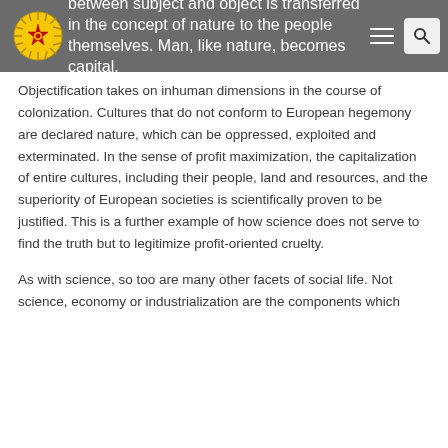between subject and object is transferred in the concept of nature to the people themselves. Man, like nature, becomes capital.
Objectification takes on inhuman dimensions in the course of colonization. Cultures that do not conform to European hegemony are declared nature, which can be oppressed, exploited and exterminated. In the sense of profit maximization, the capitalization of entire cultures, including their people, land and resources, and the superiority of European societies is scientifically proven to be justified. This is a further example of how science does not serve to find the truth but to legitimize profit-oriented cruelty.
As with science, so too are many other facets of social life. Not science, economy or industrialization are the components which